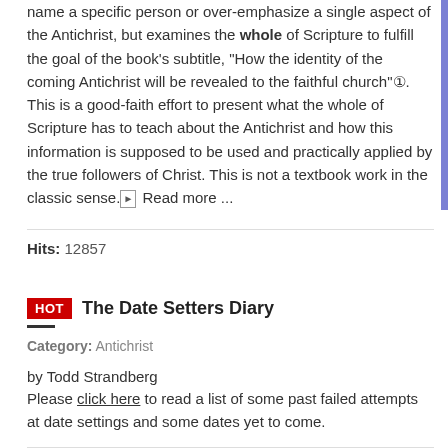other works on the Antichrist, this book does not attempt to name a specific person or over-emphasize a single aspect of the Antichrist, but examines the whole of Scripture to fulfill the goal of the book's subtitle, "How the identity of the coming Antichrist will be revealed to the faithful church"①. This is a good-faith effort to present what the whole of Scripture has to teach about the Antichrist and how this information is supposed to be used and practically applied by the true followers of Christ. This is not a textbook work in the classic sense.⊞ Read more ...
Hits: 12857
HOT  The Date Setters Diary
Category: Antichrist
by Todd Strandberg
Please click here to read a list of some past failed attempts at date settings and some dates yet to come.